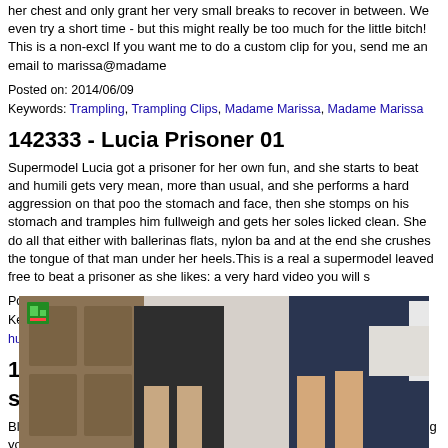her chest and only grant her very small breaks to recover in between. We even try a short time - but this might really be too much for the little bitch! This is a non-excl If you want me to do a custom clip for you, send me an email to marissa@madame
Posted on: 2014/06/09
Keywords: Trampling, Trampling Clips, Madame Marissa, Madame Marissa
142333 - Lucia Prisoner 01
Supermodel Lucia got a prisoner for her own fun, and she starts to beat and humili gets very mean, more than usual, and she performs a hard aggression on that poo the stomach and face, then she stomps on his stomach and tramples him fullweigh and gets her soles licked clean. She do all that either with ballerinas flats, nylon ba and at the end she crushes the tongue of that man under her heels.This is a real a supermodel leaved free to beat a prisoner as she likes: a very hard video you will s
Posted on: 2014/06/09
Keywords: Trampling, Trampling Clips, Black Cat Videos, trample trampling humiliation
12293 - Stroking with socks and stockings
Blindfolded, you can't seeanything, you only feel how six feet are smearing your fac on your chest so the experience will be more memorable. Time: 7.18 min.
[Figure (photo): Three women from behind showing legs, wearing skirts and shorts, standing near a wooden cabinet. A small green icon overlay is visible in the top-left of the image.]